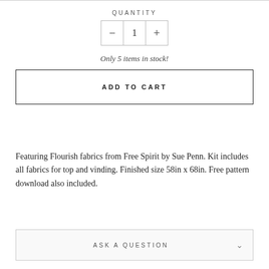QUANTITY
- 1 +
Only 5 items in stock!
ADD TO CART
Featuring Flourish fabrics from Free Spirit by Sue Penn. Kit includes all fabrics for top and vinding. Finished size 58in x 68in. Free pattern download also included.
ASK A QUESTION